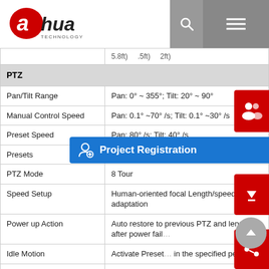Dahua Technology
| Feature | Specification |
| --- | --- |
| (partial row) | 5.8ft) .5ft) 2ft) |
| PTZ |  |
| Pan/Tilt Range | Pan: 0° ~ 355°; Tilt: 20° ~ 90° |
| Manual Control Speed | Pan: 0.1° ~70° /s; Tilt: 0.1° ~30° /s |
| Preset Speed | Pan: 80° /s; Tilt: 40° /s |
| Presets | 300 |
| PTZ Mode | 8 Tour |
| Speed Setup | Human-oriented focal Length/speed adaptation |
| Power up Action | Auto restore to previous PTZ and lens s... after power fail... |
| Idle Motion | Activate Preset... in the specified period |
| Protocol | DH-SD |
| Intelligence |  |
| Event Trigger | Motion detection, Video tampering, Network disconnection, IP address conflict, Illegal access, Storage anomaly |